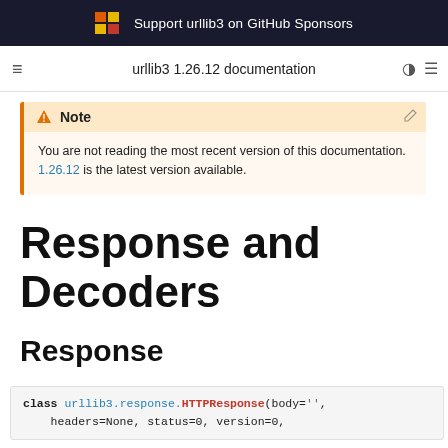Support urllib3 on GitHub Sponsors
urllib3 1.26.12 documentation
Note
You are not reading the most recent version of this documentation. 1.26.12 is the latest version available.
Response and Decoders
Response
class urllib3.response.HTTPResponse(body='', headers=None, status=0, version=0,